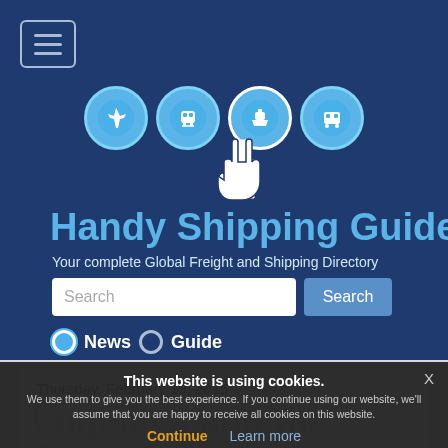[Figure (logo): Handy Shipping Guide website header with navigation icons for air, rail, sea, and road freight, a pointing hand cursor graphic, site title 'Handy Shipping Guide', subtitle 'Your complete Global Freight and Shipping Directory', a search bar with Search button, and radio buttons for News and Guide.]
Thursday, February 19, 2015
Logistics and the Supply Chain
This website is using cookies.
We use them to give you the best experience. If you continue using our website, we'll assume that you are happy to receive all cookies on this website.
Continue   Learn more